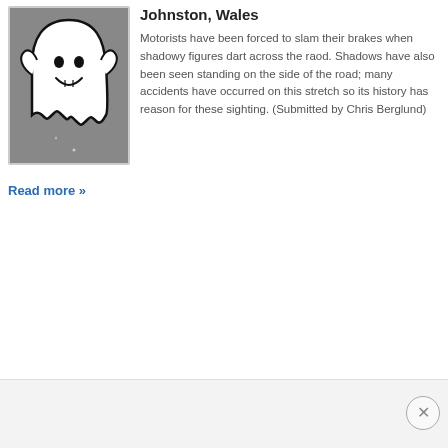[Figure (illustration): Cartoon ghost illustration: a white smiling ghost with black outline on a grey background, inside a light grey bordered frame.]
Johnston, Wales
Motorists have been forced to slam their brakes when shadowy figures dart across the raod. Shadows have also been seen standing on the side of the road; many accidents have occurred on this stretch so its history has reason for these sighting. (Submitted by Chris Berglund)
Read more »